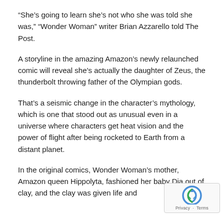“She’s going to learn she’s not who she was told she was,” “Wonder Woman” writer Brian Azzarello told The Post.
A storyline in the amazing Amazon’s newly relaunched comic will reveal she’s actually the daughter of Zeus, the thunderbolt throwing father of the Olympian gods.
That’s a seismic change in the character’s mythology, which is one that stood out as unusual even in a universe where characters get heat vision and the power of flight after being rocketed to Earth from a distant planet.
In the original comics, Wonder Woman’s mother, Amazon queen Hippolyta, fashioned her baby Dia out of clay, and the clay was given life and